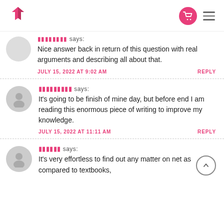Logo | Cart | Menu
aaaaaaaa says:
Nice answer back in return of this question with real arguments and describing all about that.
JULY 15, 2022 AT 9:02 AM   REPLY
กกกกกกกกก says:
It's going to be finish of mine day, but before end I am reading this enormous piece of writing to improve my knowledge.
JULY 15, 2022 AT 11:11 AM   REPLY
กกกกกก says:
It's very effortless to find out any matter on net as compared to textbooks,